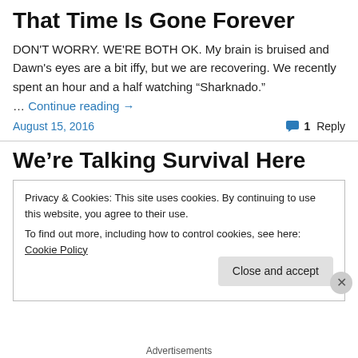That Time Is Gone Forever
DON'T WORRY. WE'RE BOTH OK. My brain is bruised and Dawn's eyes are a bit iffy, but we are recovering. We recently spent an hour and a half watching “Sharknado.”
… Continue reading →
August 15, 2016
1 Reply
We’re Talking Survival Here
Privacy & Cookies: This site uses cookies. By continuing to use this website, you agree to their use.
To find out more, including how to control cookies, see here: Cookie Policy
Close and accept
Advertisements